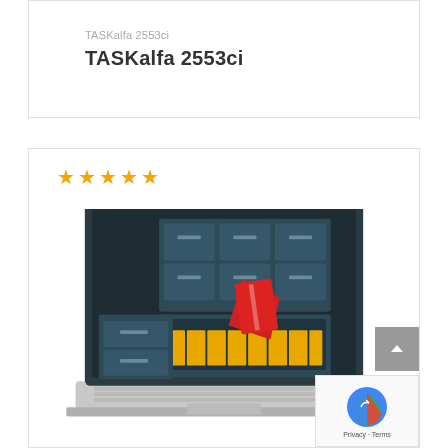TASKalfa 2553ci
TASKalfa 2553ci
[Figure (other): Five gold/orange star rating icons]
[Figure (photo): 3D illustration of a laptop with filing cabinet drawers emerging from the screen, containing yellow folders and a red document/card. The laptop keyboard is visible at the bottom.]